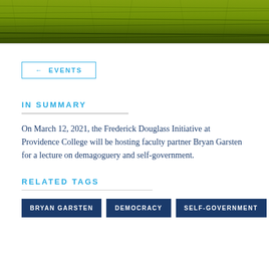[Figure (photo): Green grass/field textured header image in yellow-green tones with dark linear patterns.]
← EVENTS
IN SUMMARY
On March 12, 2021, the Frederick Douglass Initiative at Providence College will be hosting faculty partner Bryan Garsten for a lecture on demagoguery and self-government.
RELATED TAGS
BRYAN GARSTEN
DEMOCRACY
SELF-GOVERNMENT